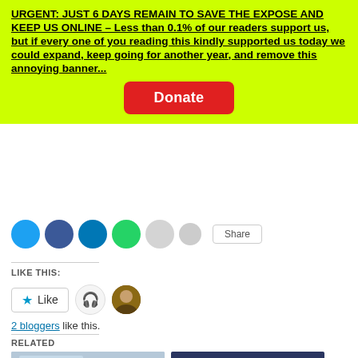URGENT: JUST 6 DAYS REMAIN TO SAVE THE EXPOSE AND KEEP US ONLINE – Less than 0.1% of our readers support us, but if every one of you reading this kindly supported us today we could expand, keep going for another year, and remove this annoying banner...
[Figure (other): Red Donate button on yellow-green banner]
[Figure (other): Row of social media share icons (Twitter, Facebook, LinkedIn, WhatsApp, etc.) and a share button]
LIKE THIS:
[Figure (other): Like button with star icon, plus two blogger avatars (headset and photo)]
2 bloggers like this.
RELATED
[Figure (photo): Left thumbnail: medical vaccination scene with chat bubble icon overlay]
[Figure (photo): Right thumbnail: DR VERNON COLEMAN dark blue card with text 'Something very dangerous is going to happen with the new Flu Jab']